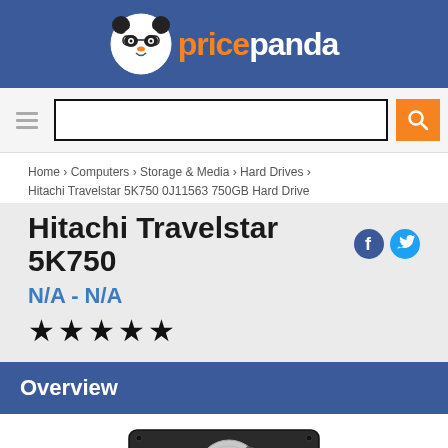pricepanda
[Figure (screenshot): Search bar with hamburger menu icon and orange search button]
Home › Computers › Storage & Media › Hard Drives › Hitachi Travelstar 5K750 0J11563 750GB Hard Drive
Hitachi Travelstar 5K750
N/A - N/A
★★★★★
Overview
[Figure (photo): Hitachi Travelstar 5K750 hard drive — a 2.5-inch laptop hard disk drive shown from the top/side angle]